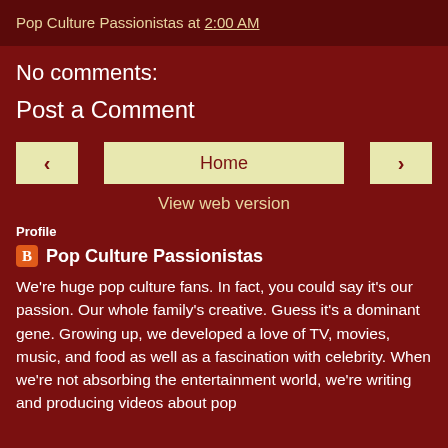Pop Culture Passionistas at 2:00 AM
No comments:
Post a Comment
< Home >
View web version
Profile
Pop Culture Passionistas
We're huge pop culture fans. In fact, you could say it's our passion. Our whole family's creative. Guess it's a dominant gene. Growing up, we developed a love of TV, movies, music, and food as well as a fascination with celebrity. When we're not absorbing the entertainment world, we're writing and producing videos about pop